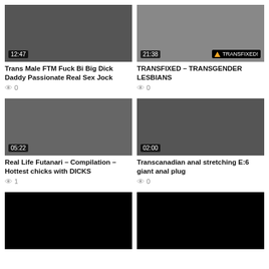[Figure (screenshot): Video thumbnail showing two people, duration 12:47]
Trans Male FTM Fuck Bi Big Dick Daddy Passionate Real Sex Jock
0
[Figure (screenshot): Video thumbnail showing two people on yoga mat, duration 21:38, TRANSFIXED badge]
TRANSFIXED – TRANSGENDER LESBIANS
0
[Figure (screenshot): Video thumbnail, duration 05:22, FUTANARI watermark]
Real Life Futanari – Compilation – Hottest chicks with DICKS
1
[Figure (screenshot): Video thumbnail, duration 02:00]
Transcanadian anal stretching E:6 giant anal plug
0
[Figure (screenshot): Black video thumbnail (loading)]
[Figure (screenshot): Black video thumbnail (loading)]